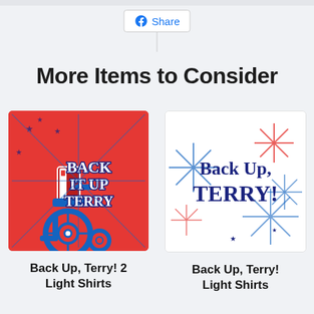[Figure (screenshot): Facebook Share button with dropdown line]
More Items to Consider
[Figure (illustration): Back It Up Terry shirt design on red background with wheelchair and stars]
Back Up, Terry! 2 Light Shirts
[Figure (illustration): Back Up Terry fireworks design on white background]
Back Up, Terry! Light Shirts